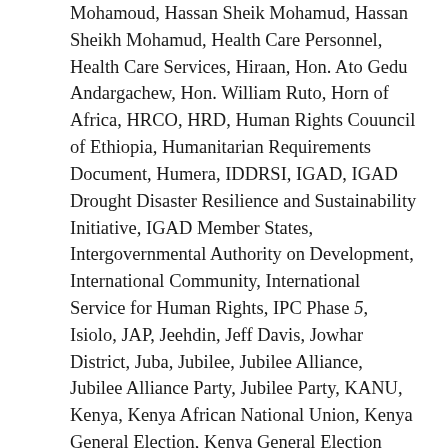Mohamoud, Hassan Sheik Mohamud, Hassan Sheikh Mohamud, Health Care Personnel, Health Care Services, Hiraan, Hon. Ato Gedu Andargachew, Hon. William Ruto, Horn of Africa, HRCO, HRD, Human Rights Couuncil of Ethiopia, Humanitarian Requirements Document, Humera, IDDRSI, IGAD, IGAD Drought Disaster Resilience and Sustainability Initiative, IGAD Member States, Intergovernmental Authority on Development, International Community, International Service for Human Rights, IPC Phase 5, Isiolo, JAP, Jeehdin, Jeff Davis, Jowhar District, Juba, Jubilee, Jubilee Alliance, Jubilee Alliance Party, Jubilee Party, KANU, Kenya, Kenya African National Union, Kenya General Election, Kenya General Election 2017, Kenya National Government, Kenya National Treasury, Kenyan Government, Kilifi, Kismaayo, Kismayo, Kismayo District, Kitui, Kwale, La Nina, Livestock, Livestock deaths, Livestock Disease Control, Makueni, Malnourished, Mandera, Marsabit, Maykadra, Mebratu Getahun, Meher, Members of Parliament, Mendi, Mercenaries, Mercenary Force, Metema, Middle Shabelle, Mohamed Hashi Abdi, MPS, Mudag, Mudug